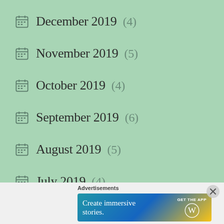December 2019 (4)
November 2019 (5)
October 2019 (4)
September 2019 (6)
August 2019 (5)
July 2019 (4)
June 2019 (5)
May 2019 (6)
Advertisements
[Figure (infographic): WordPress app advertisement banner: 'Create immersive stories. GET THE APP' with WordPress logo]